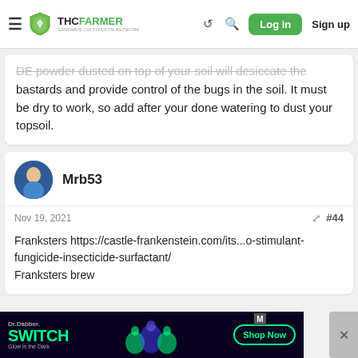THC FARMER - CANNABIS CULTIVATION NETWORK | Log in | Sign up
DE powder dusted on top of your soil will desiccate the bastards and provide control of the bugs in the soil. It must be dry to work, so add after your done watering to dust your topsoil.
Mrb53
Nov 19, 2021  #44
Franksters https://castle-frankenstein.com/its...o-stimulant-fungicide-insecticide-surfactant/
Franksters brew
[Figure (screenshot): Advertisement banner for Dr.Dabber SWITCH Glow in the Dark with Shop Now button]